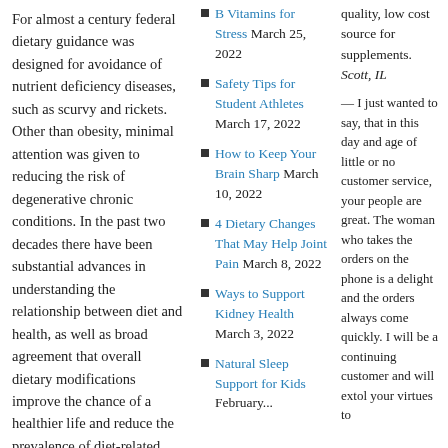For almost a century federal dietary guidance was designed for avoidance of nutrient deficiency diseases, such as scurvy and rickets. Other than obesity, minimal attention was given to reducing the risk of degenerative chronic conditions. In the past two decades there have been substantial advances in understanding the relationship between diet and health, as well as broad agreement that overall dietary modifications improve the chance of a healthier life and reduce the prevalence of diet-related chronic disease. Family history, environmental concerns, healthcare access and other health-promoting lifestyle factors, such as regular
B Vitamins for Stress March 25, 2022
Safety Tips for Student Athletes March 17, 2022
How to Keep Your Brain Sharp March 10, 2022
4 Dietary Changes That May Help Joint Pain March 8, 2022
Ways to Support Kidney Health March 3, 2022
Natural Sleep Support for Kids February...
quality, low cost source for supplements. Scott, IL
— I just wanted to say, that in this day and age of little or no customer service, your people are great. The woman who takes the orders on the phone is a delight and the orders always come quickly. I will be a continuing customer and will extol your virtues to